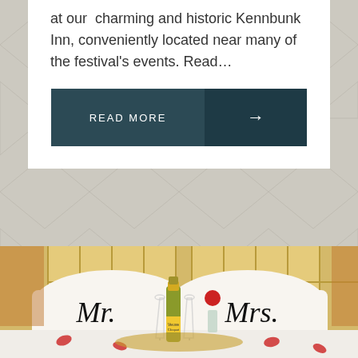at our charming and historic Kennbunk Inn, conveniently located near many of the festival's events. Read…
[Figure (other): A 'READ MORE' button with arrow, teal/dark teal background, white text]
[Figure (photo): Hotel room bed with 'Mr.' and 'Mrs.' pillows, champagne bottle with two glasses, red rose in a vase, and rose petals scattered on the bed]